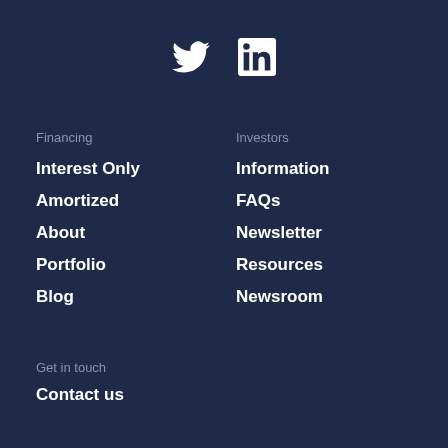[Figure (infographic): Social media icons: Twitter bird icon and LinkedIn 'in' icon, white on dark navy background]
Financing
Interest Only
Amortized
About
Portfolio
Blog
Investors
Information
FAQs
Newsletter
Resources
Newsroom
Get in touch
Contact us